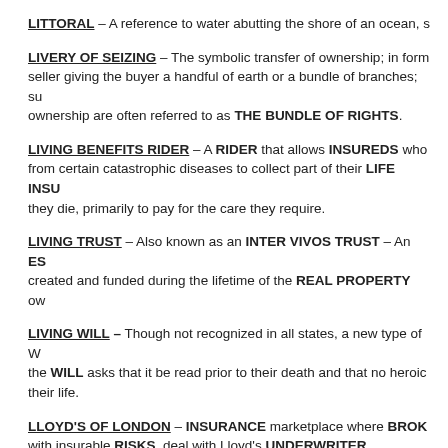LITTORAL – A reference to water abutting the shore of an ocean, s...
LIVERY OF SEIZING – The symbolic transfer of ownership; in forme... seller giving the buyer a handful of earth or a bundle of branches; su... ownership are often referred to as THE BUNDLE OF RIGHTS.
LIVING BENEFITS RIDER – A RIDER that allows INSUREDS who... from certain catastrophic diseases to collect part of their LIFE INSU... they die, primarily to pay for the care they require.
LIVING TRUST – Also known as an INTER VIVOS TRUST – An ES... created and funded during the lifetime of the REAL PROPERTY ow...
LIVING WILL – Though not recognized in all states, a new type of W... the WILL asks that it be read prior to their death and that no heroic... their life.
LLOYD'S OF LONDON – INSURANCE marketplace wh... with insurable RISKS, deal with Lloyd's UNDERWRITER... investors are grouped together into SYNDICATES that p...